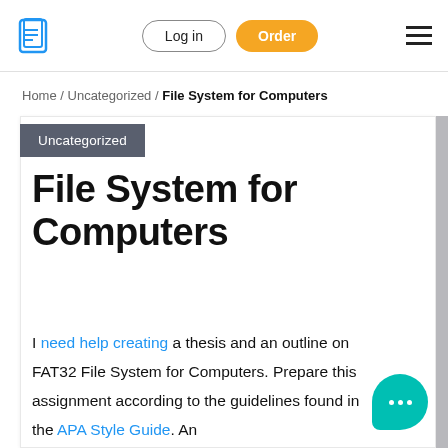Log in | Order
Home / Uncategorized / File System for Computers
Uncategorized
File System for Computers
I need help creating a thesis and an outline on FAT32 File System for Computers. Prepare this assignment according to the guidelines found in the APA Style Guide. An